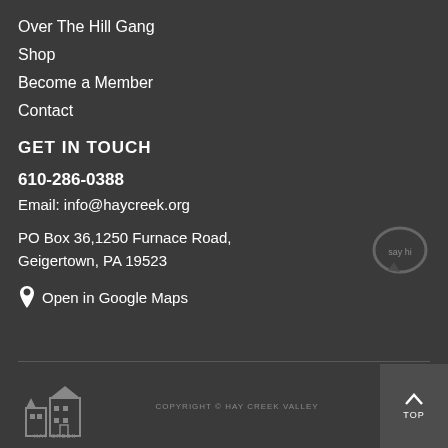Over The Hill Gang
Shop
Become a Member
Contact
GET IN TOUCH
610-286-0388
Email: info@haycreek.org
PO Box 36,1250 Furnace Road, Geigertown, PA 19523
Open in Google Maps
[Figure (illustration): Speech bubble icon with 'say hi' text]
[Figure (logo): Hay Creek valley logo with building silhouette]
COPYRIGHT © HAY CREEK VALLEY